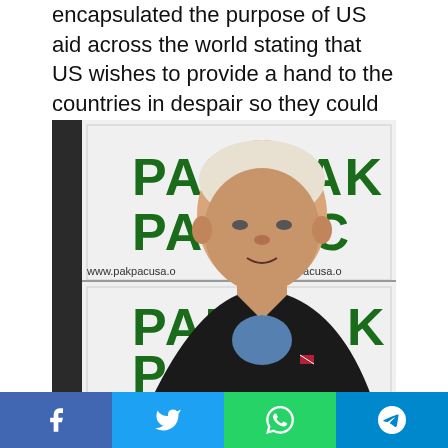encapsulated the purpose of US aid across the world stating that US wishes to provide a hand to the countries in despair so they could strive and then thrive in the latter.
[Figure (photo): A man speaking in front of a PAK PAC banner/backdrop with green lettering, wearing a dark jacket and blue shirt with a small flag pin on the lapel. The website www.pakpacusa.o[rg] is visible on the backdrop.]
Social sharing bar with Facebook, Twitter, WhatsApp, and Telegram buttons